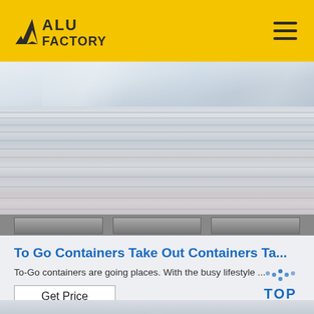ALU FACTORY
[Figure (photo): Stack of aluminum sheets on a pallet in a warehouse/factory setting. The sheets are light grey/silver colored, stacked flat, viewed from a slight angle showing the top surface and the layered edge stack.]
To Go Containers Take Out Containers Ta...
To-Go containers are going places. With the busy lifestyle ...
Get Price
[Figure (other): TOP button with dotted arc above the text TOP in blue]